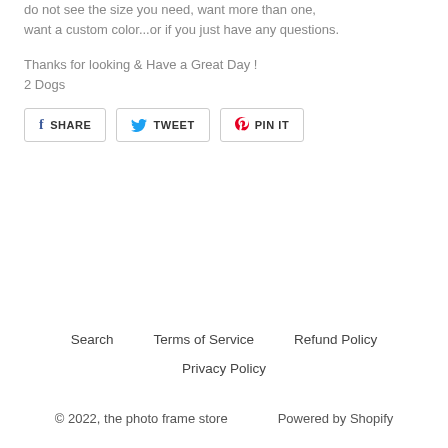do not see the size you need, want more than one, want a custom color...or if you just have any questions.
Thanks for looking & Have a Great Day !
2 Dogs
[Figure (other): Social share buttons: SHARE (Facebook), TWEET (Twitter), PIN IT (Pinterest)]
Search   Terms of Service   Refund Policy   Privacy Policy   © 2022, the photo frame store   Powered by Shopify